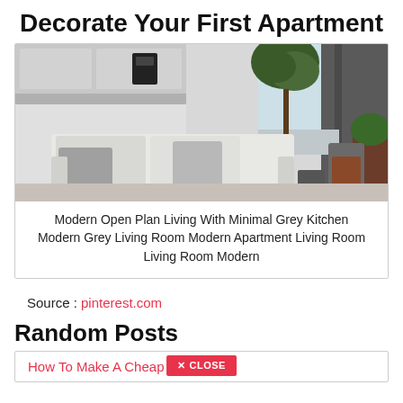Decorate Your First Apartment
[Figure (photo): Modern open plan living room with white sofa, grey pillows, fiddle leaf fig tree, grey curtains, and visible kitchen with coffee maker in background]
Modern Open Plan Living With Minimal Grey Kitchen Modern Grey Living Room Modern Apartment Living Room Living Room Modern
Source : pinterest.com
Random Posts
How To Make A Cheap Patio Roof